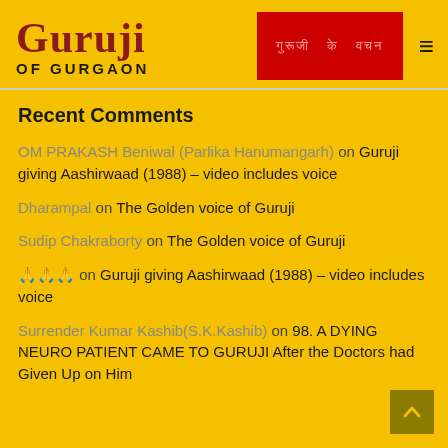GURUJI OF GURGAON
Recent Comments
OM PRAKASH Beniwal (Parlika Hanumangarh) on Guruji giving Aashirwaad (1988) – video includes voice
Dharampal on The Golden voice of Guruji
Sudip Chakraborty on The Golden voice of Guruji
🙏🙏🙏 on Guruji giving Aashirwaad (1988) – video includes voice
Surrender Kumar Kashib(S.K.Kashib) on 98. A DYING NEURO PATIENT CAME TO GURUJI After the Doctors had Given Up on Him